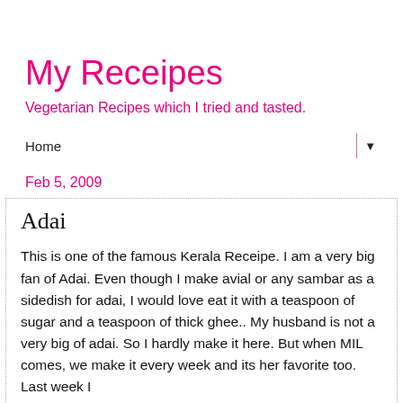My Receipes
Vegetarian Recipes which I tried and tasted.
Home ▼
Feb 5, 2009
Adai
This is one of the famous Kerala Receipe. I am a very big fan of Adai. Even though I make avial or any sambar as a sidedish for adai, I would love eat it with a teaspoon of sugar and a teaspoon of thick ghee.. My husband is not a very big of adai. So I hardly make it here. But when MIL comes, we make it every week and its her favorite too. Last week I